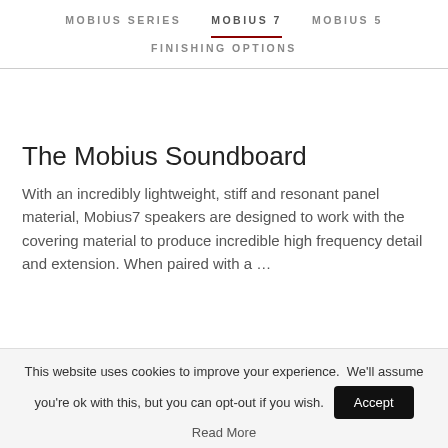MOBIUS SERIES  MOBIUS 7  MOBIUS 5  FINISHING OPTIONS
The Mobius Soundboard
With an incredibly lightweight, stiff and resonant panel material, Mobius7 speakers are designed to work with the covering material to produce incredible high frequency detail and extension. When paired with a
This website uses cookies to improve your experience. We'll assume you're ok with this, but you can opt-out if you wish.   Accept   Read More